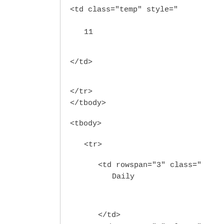<td class="temp" style="
11
</td>
</tr>
</tbody>
<tbody>
<tr>
<td rowspan="3" class="
Daily
</td>
<td rowspan="3" class="